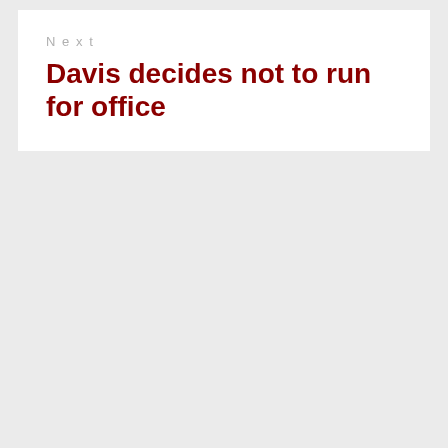Next
Davis decides not to run for office